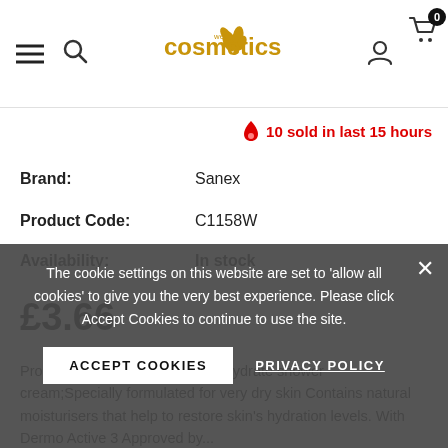cosmetics web — navigation header with hamburger, search, logo, user icon, cart (0)
🔥 10 sold in last 15 hours
Brand: Sanex
Product Code: C1158W
Availability: In stock
£3.66
Product description Dermo Pro Hydrate shower cream;Specially formulated for very dry skin Contains natural moisturisers that help to restore skin's hydration levels. With Dermo Active 3 Approved by...
Quantity:
The cookie settings on this website are set to 'allow all cookies' to give you the very best experience. Please click Accept Cookies to continue to use the site.
ACCEPT COOKIES
PRIVACY POLICY